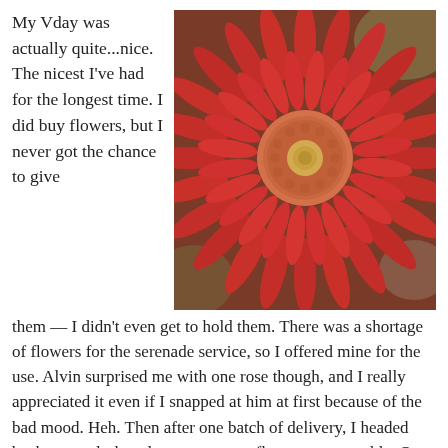My Vday was actually quite...nice. The nicest I've had for the longest time. I did buy flowers, but I never got the chance to give
[Figure (photo): Close-up photograph of a red gerbera daisy flower with a yellow-green center, vibrant red petals, slightly blurred background]
them — I didn't even get to hold them. There was a shortage of flowers for the serenade service, so I offered mine for the use. Alvin surprised me with one rose though, and I really appreciated it even if I snapped at him at first because of the bad mood. Heh. Then after one batch of delivery, I headed back to my desk and saw two more flowers on my table. One was actually Gel's, which she left on my table, while the other one was mine (pictured on the right, fuzzy picture by Captain Tal). Both our flowers were from Peace, our resident flower guy.